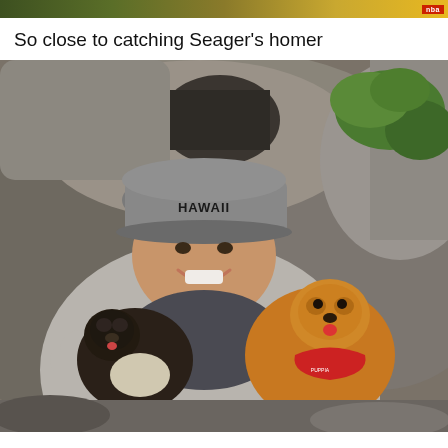So close to catching Seager's homer
[Figure (photo): An older woman wearing a gray 'HAWAII' baseball cap and a gray zip-up hoodie over a dark shirt, smiling and holding two Pomeranian dogs — one black and one orange/brown wearing a red harness — while sitting among large rocks with green ferns in the background.]